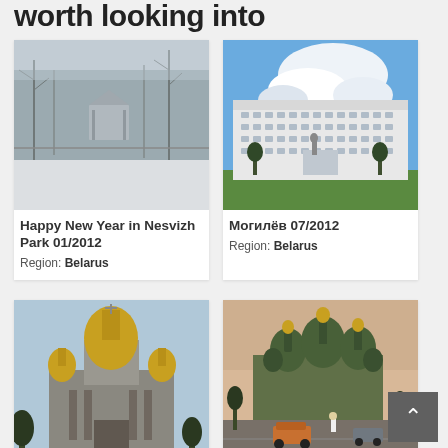worth looking into
[Figure (photo): Snowy winter park scene with a gazebo, trees with bare branches, Nesvizh Park]
Happy New Year in Nesvizh Park 01/2012
Region: Belarus
[Figure (photo): Large white government building with columns and statue in front, cloudy sky, Mogilev]
Могилёв 07/2012
Region: Belarus
[Figure (photo): Saint Isaac's Cathedral with golden dome, Saint Petersburg]
Walking around in Saint
[Figure (photo): Saint Sophia Cathedral with green and gold domes, cars on street, Kyiv at dusk]
Late Summer Kyiv